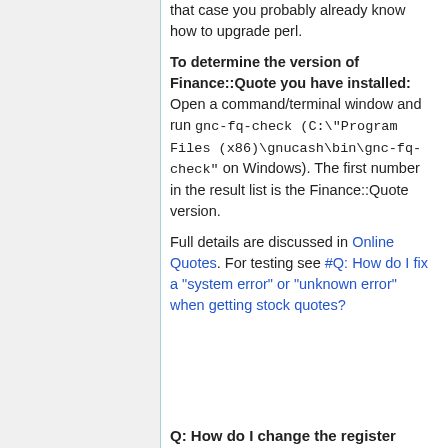that case you probably already know how to upgrade perl.
To determine the version of Finance::Quote you have installed: Open a command/terminal window and run gnc-fq-check (C:\"Program Files (x86)\gnucash\bin\gnc-fq-check" on Windows). The first number in the result list is the Finance::Quote version.
Full details are discussed in Online Quotes. For testing see #Q: How do I fix a "system error" or "unknown error" when getting stock quotes?
Q: How do I change the register